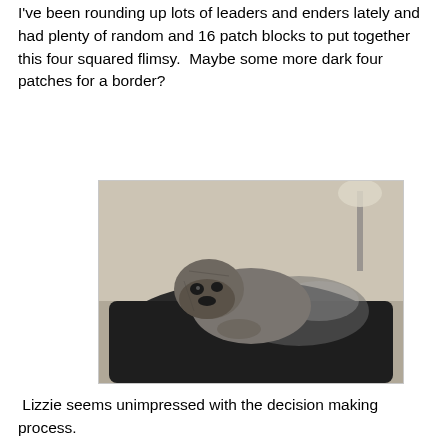I've been rounding up lots of leaders and enders lately and had plenty of random and 16 patch blocks to put together this four squared flimsy.  Maybe some more dark four patches for a border?
[Figure (photo): Black and white photo of a pug dog lying on a dark leather couch, looking tired and unimpressed, with a lamp visible in the background]
Lizzie seems unimpressed with the decision making process.
[Figure (photo): Photo of two embroidery hoops on a beige carpet. The left hoop contains a colorful circular fabric piece with many bright fabric scraps. The right hoop contains a white oval fabric piece with a subtle floral print.]